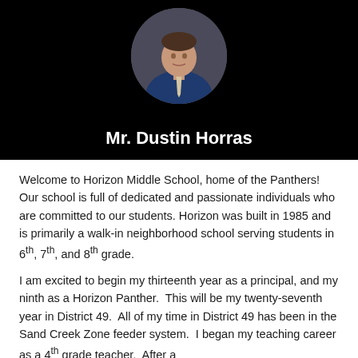[Figure (photo): Circular headshot photo of Mr. Dustin Horras wearing a blue shirt and patterned tie, displayed on a black background]
Mr. Dustin Horras
Welcome to Horizon Middle School, home of the Panthers! Our school is full of dedicated and passionate individuals who are committed to our students. Horizon was built in 1985 and is primarily a walk-in neighborhood school serving students in 6th, 7th, and 8th grade.
I am excited to begin my thirteenth year as a principal, and my ninth as a Horizon Panther. This will be my twenty-seventh year in District 49. All of my time in District 49 has been in the Sand Creek Zone feeder system. I began my teaching career as a 4th grade teacher. After a...